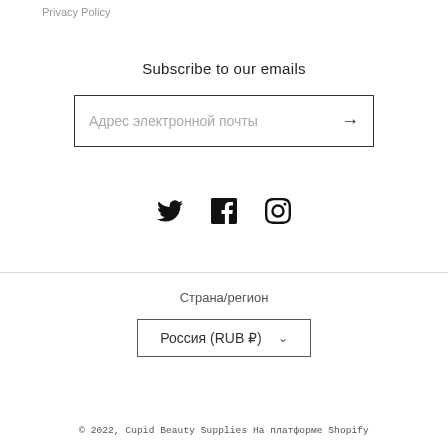Privacy Policy
Subscribe to our emails
Адрес электронной почты →
[Figure (other): Social media icons: Twitter, Facebook, Instagram]
Страна/регион
Россия (RUB ₽) ∨
© 2022, Cupid Beauty Supplies На платформе Shopify